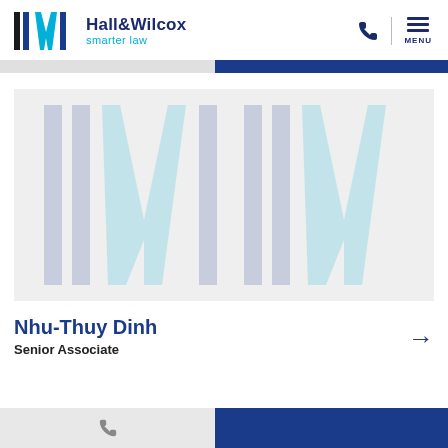[Figure (logo): Hall & Wilcox smarter law logo with stylized HW icon in dark navy and light blue]
[Figure (photo): Profile photo placeholder area with Hall & Wilcox watermark logo in light gray]
Nhu-Thuy Dinh
Senior Associate
[Figure (other): Bottom navigation bar with phone icon on gray section and blue section]